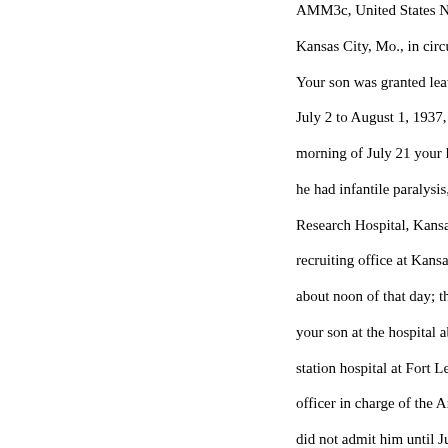AMM3c, United States Navy, from Kansas City, Mo., in circumstance...
Your son was granted leave from July 2 to August 1, 1937, and when on the morning of July 21 your local do... he had infantile paralysis, and or... Research Hospital, Kansas City,... recruiting office at Kansas City;... about noon of that day; that Dr. N... your son at the hospital about 2 p... station hospital at Fort Leavenwo... officer in charge of the Army hos... did not admit him until July 29 1... period of 8 days that the hospital...
When an officer or enlisted man... hospital and medical service at th... Government hospital facilities w... in which he placed himself for hi...
Both in the Army and the Navy i... particular service on leave of abs... which they report, and there is a... persons in these circumstances fr... men of either service on leave o...